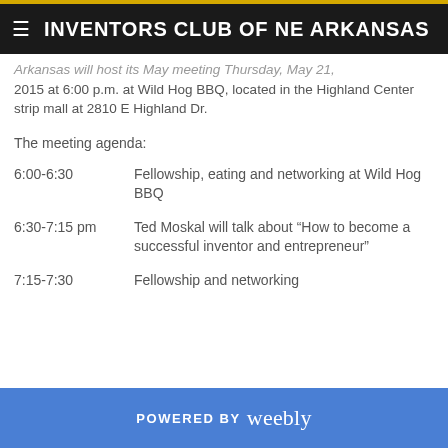INVENTORS CLUB OF NE ARKANSAS
Arkansas will host its May meeting Thursday, May 21, 2015 at 6:00 p.m. at Wild Hog BBQ, located in the Highland Center strip mall at 2810 E Highland Dr.
The meeting agenda:
6:00-6:30    Fellowship, eating and networking at Wild Hog BBQ
6:30-7:15 pm    Ted Moskal will talk about “How to become a successful inventor and entrepreneur”
7:15-7:30    Fellowship and networking
POWERED BY weebly